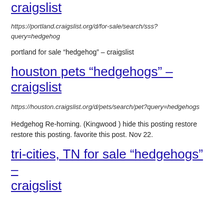craigslist
https://portland.craigslist.org/d/for-sale/search/sss?query=hedgehog
portland for sale “hedgehog” – craigslist
houston pets “hedgehogs” – craigslist
https://houston.craigslist.org/d/pets/search/pet?query=hedgehogs
Hedgehog Re-homing. (Kingwood ) hide this posting restore restore this posting. favorite this post. Nov 22.
tri-cities, TN for sale “hedgehogs” – craigslist